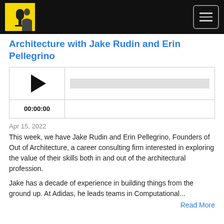Architecture with Jake Rudin and Erin Pellegrino
Architecture with Jake Rudin and Erin Pellegrino
[Figure (screenshot): Audio player widget with play button, progress bar, timestamp 00:00:00]
Apr 15, 2022
This week, we have Jake Rudin and Erin Pellegrino, Founders of Out of Architecture, a career consulting firm interested in exploring the value of their skills both in and out of the architectural profession.
Jake has a decade of experience in building things from the ground up. At Adidas, he leads teams in Computational...
Read More